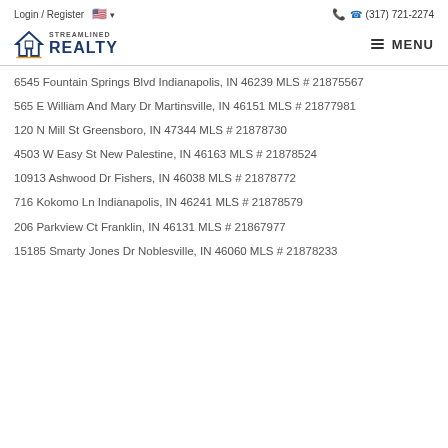Login / Register  🇺🇸 ▾   (317) 721-2274
[Figure (logo): Streamlined Realty logo with house icon and MENU navigation button]
6545 Fountain Springs Blvd Indianapolis, IN 46239 MLS # 21875567
565 E William And Mary Dr Martinsville, IN 46151 MLS # 21877981
120 N Mill St Greensboro, IN 47344 MLS # 21878730
4503 W Easy St New Palestine, IN 46163 MLS # 21878524
10913 Ashwood Dr Fishers, IN 46038 MLS # 21878772
716 Kokomo Ln Indianapolis, IN 46241 MLS # 21878579
206 Parkview Ct Franklin, IN 46131 MLS # 21867977
15185 Smarty Jones Dr Noblesville, IN 46060 MLS # 21878233